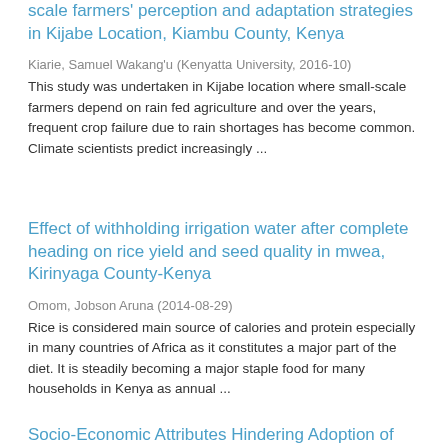scale farmers' perception and adaptation strategies in Kijabe Location, Kiambu County, Kenya
Kiarie, Samuel Wakang'u (Kenyatta University, 2016-10)
This study was undertaken in Kijabe location where small-scale farmers depend on rain fed agriculture and over the years, frequent crop failure due to rain shortages has become common. Climate scientists predict increasingly ...
Effect of withholding irrigation water after complete heading on rice yield and seed quality in mwea, Kirinyaga County-Kenya
Omom, Jobson Aruna (2014-08-29)
Rice is considered main source of calories and protein especially in many countries of Africa as it constitutes a major part of the diet. It is steadily becoming a major staple food for many households in Kenya as annual ...
Socio-Economic Attributes Hindering Adoption of